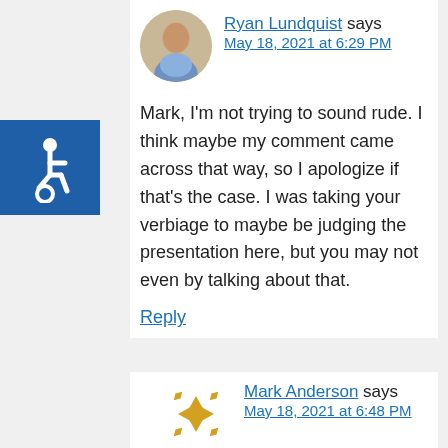[Figure (photo): Circular avatar photo of Ryan Lundquist, a man in a blue shirt]
Ryan Lundquist says
May 18, 2021 at 6:29 PM
[Figure (illustration): Accessibility (wheelchair) icon, white symbol on blue background]
Mark, I'm not trying to sound rude. I think maybe my comment came across that way, so I apologize if that's the case. I was taking your verbiage to maybe be judging the presentation here, but you may not even by talking about that.
Reply
[Figure (logo): Mark Anderson avatar: gold geometric star/pinwheel pattern logo]
Mark Anderson says
May 18, 2021 at 6:48 PM
Sorry, did not intend to demean